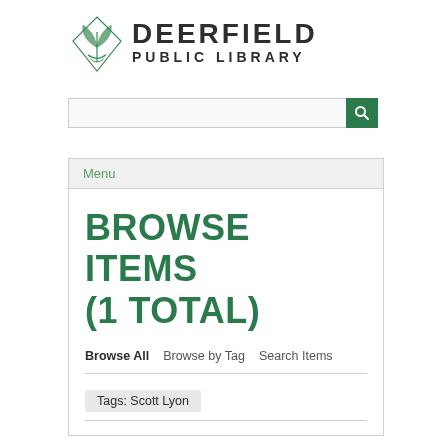[Figure (logo): Deerfield Public Library logo with green leaf/book graphic and text DEERFIELD PUBLIC LIBRARY]
[Figure (screenshot): Search bar with text input and green search button with magnifying glass icon]
Menu
BROWSE ITEMS (1 TOTAL)
Browse All   Browse by Tag   Search Items
Tags: Scott Lyon